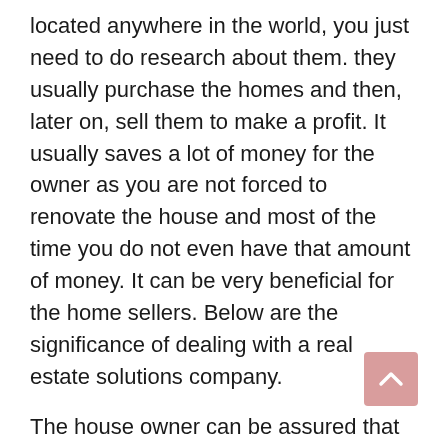located anywhere in the world, you just need to do research about them. they usually purchase the homes and then, later on, sell them to make a profit. It usually saves a lot of money for the owner as you are not forced to renovate the house and most of the time you do not even have that amount of money. It can be very beneficial for the home sellers. Below are the significance of dealing with a real estate solutions company.
The house owner can be assured that they will have saved a lot of cash that they can use in other things. One thing that you can be assured is such companies usually do not check on a lot of details they are only interested in the house and not what the condition it is in.They usually buy the home in whatever condition it is in. Most of the homeowners usually do not have enough cash for renovating the house and it tends not to sell houses fast making it to be very stressful and because such companies do not care much about that it eases up the stress.